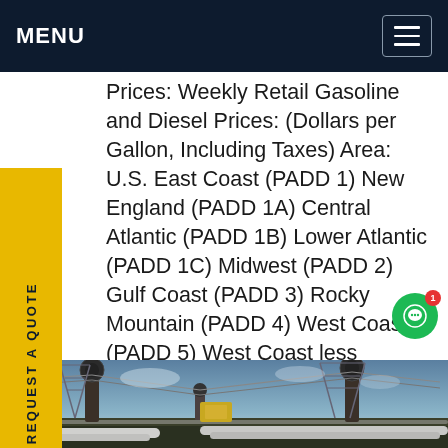MENU
Prices: Weekly Retail Gasoline and Diesel Prices: (Dollars per Gallon, Including Taxes) Area: U.S. East Coast (PADD 1) New England (PADD 1A) Central Atlantic (PADD 1B) Lower Atlantic (PADD 1C) Midwest (PADD 2) Gulf Coast (PADD 3) Rocky Mountain (PADD 4) West Coast (PADD 5) West Coast less CaliforniaGet price
[Figure (photo): Electrical power substation with high-voltage transformers, insulators, and transmission infrastructure photographed from ground level against a partly cloudy sky.]